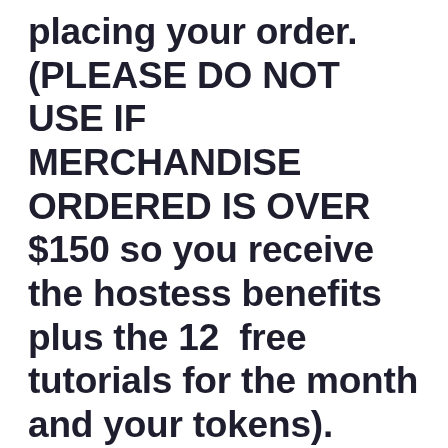placing your order. (PLEASE DO NOT USE IF MERCHANDISE ORDERED IS OVER $150 so you receive the hostess benefits plus the 12  free tutorials for the month and your tokens).
Free tutorials are an exclusive perk for my Stampin' Up! customers and